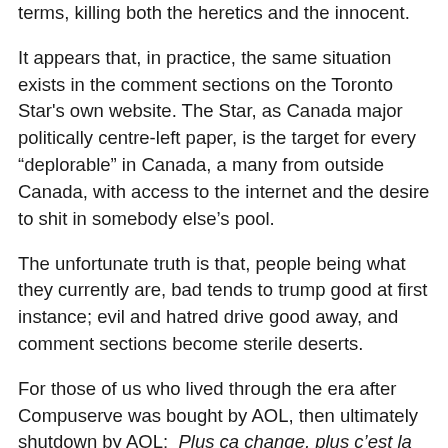terms, killing both the heretics and the innocent.
It appears that, in practice, the same situation exists in the comment sections on the Toronto Star's own website. The Star, as Canada major politically centre-left paper, is the target for every “deplorable” in Canada, a many from outside Canada, with access to the internet and the desire to shit in somebody else’s pool.
The unfortunate truth is that, people being what they currently are, bad tends to trump good at first instance; evil and hatred drive good away, and comment sections become sterile deserts.
For those of us who lived through the era after Compuserve was bought by AOL, then ultimately shutdown by AOL: Plus ça change, plus c’est la même chose.